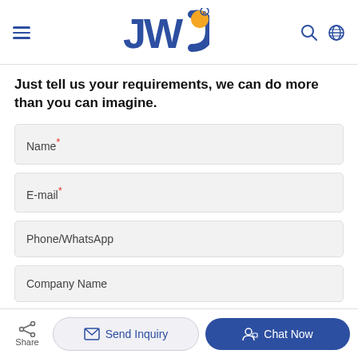[Figure (logo): JWC company logo with blue letters J W C and an orange dot/circle, with registered trademark symbol]
Just tell us your requirements, we can do more than you can imagine.
Name*
E-mail*
Phone/WhatsApp
Company Name
Share
Send Inquiry
Chat Now